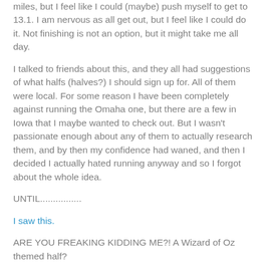miles, but I feel like I could (maybe) push myself to get to 13.1. I am nervous as all get out, but I feel like I could do it. Not finishing is not an option, but it might take me all day.
I talked to friends about this, and they all had suggestions of what halfs (halves?) I should sign up for. All of them were local. For some reason I have been completely against running the Omaha one, but there are a few in Iowa that I maybe wanted to check out. But I wasn't passionate enough about any of them to actually research them, and by then my confidence had waned, and then I decided I actually hated running anyway and so I forgot about the whole idea.
UNTIL................
I saw this.
ARE YOU FREAKING KIDDING ME?! A Wizard of Oz themed half?
I'm in. I'm so in.
I found a 20 week training plan, and I am running this bitch